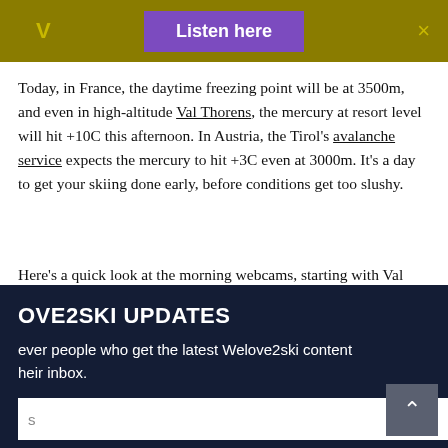V  Listen here  ×
Today, in France, the daytime freezing point will be at 3500m, and even in high-altitude Val Thorens, the mercury at resort level will hit +10C this afternoon. In Austria, the Tirol's avalanche service expects the mercury to hit +3C even at 3000m. It's a day to get your skiing done early, before conditions get too slushy.
Here's a quick look at the morning webcams, starting with Val d'Isere in
OVE2SKI UPDATES
ever people who get the latest Welove2ski content heir inbox.
s  Subscribe
your information with anyone.
[Figure (photo): Mountain panorama with snow-covered peaks and blue sky]